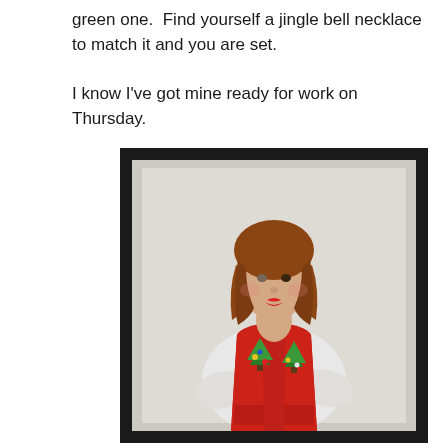green one.  Find yourself a jingle bell necklace to match it and you are set.

I know I've got mine ready for work on Thursday.
[Figure (photo): A woman with auburn hair wearing a red Christmas-themed sweater vest over a white shirt, displayed in a black frame against a light background.]